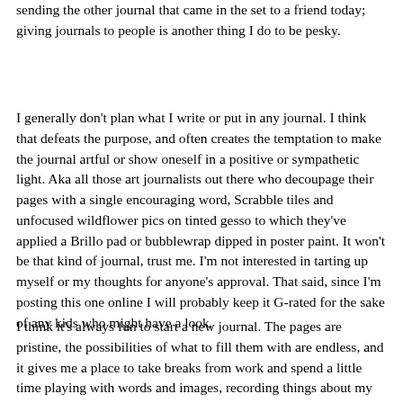sending the other journal that came in the set to a friend today; giving journals to people is another thing I do to be pesky.
I generally don't plan what I write or put in any journal. I think that defeats the purpose, and often creates the temptation to make the journal artful or show oneself in a positive or sympathetic light. Aka all those art journalists out there who decoupage their pages with a single encouraging word, Scrabble tiles and unfocused wildflower pics on tinted gesso to which they've applied a Brillo pad or bubblewrap dipped in poster paint. It won't be that kind of journal, trust me. I'm not interested in tarting up myself or my thoughts for anyone's approval. That said, since I'm posting this one online I will probably keep it G-rated for the sake of any kids who might have a look.
I think it's always fun to start a new journal. The pages are pristine, the possibilities of what to fill them with are endless, and it gives me a place to take breaks from work and spend a little time playing with words and images, recording things about my life and enjoying the day. For me a journal is a